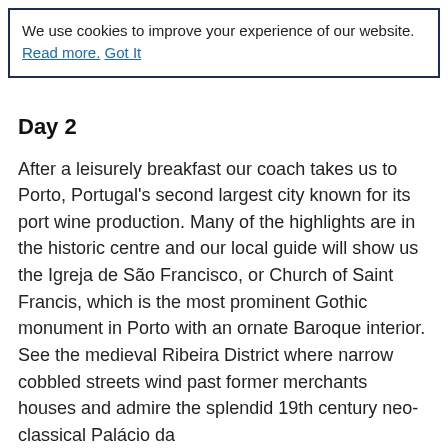We use cookies to improve your experience of our website. Read more. Got It
Day 2
After a leisurely breakfast our coach takes us to Porto, Portugal's second largest city known for its port wine production. Many of the highlights are in the historic centre and our local guide will show us the Igreja de São Francisco, or Church of Saint Francis, which is the most prominent Gothic monument in Porto with an ornate Baroque interior. See the medieval Ribeira District where narrow cobbled streets wind past former merchants houses and admire the splendid 19th century neo-classical Palácio da